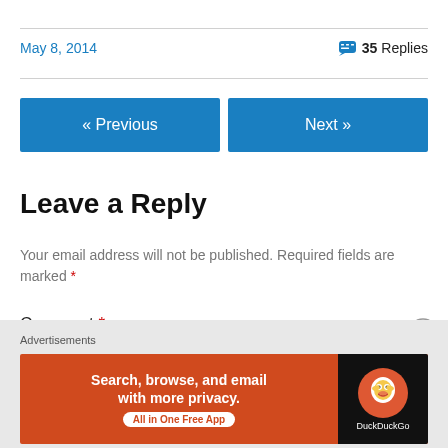May 8, 2014
35 Replies
« Previous
Next »
Leave a Reply
Your email address will not be published. Required fields are marked *
Comment *
Advertisements
[Figure (other): DuckDuckGo advertisement banner: Search, browse, and email with more privacy. All in One Free App. Shows DuckDuckGo duck logo on dark background.]